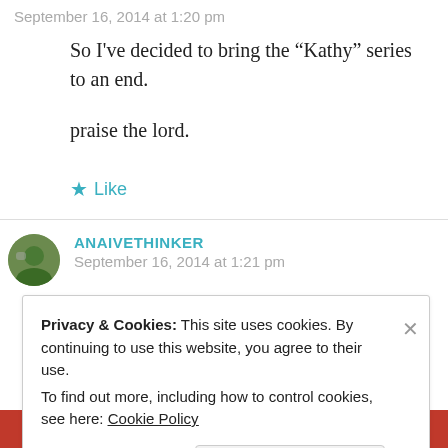September 16, 2014 at 1:20 pm
So I've decided to bring the “Kathy” series to an end.
praise the lord.
★ Like
ANAIVETHINKER
September 16, 2014 at 1:21 pm
Privacy & Cookies: This site uses cookies. By continuing to use this website, you agree to their use.
To find out more, including how to control cookies, see here: Cookie Policy
Close and accept